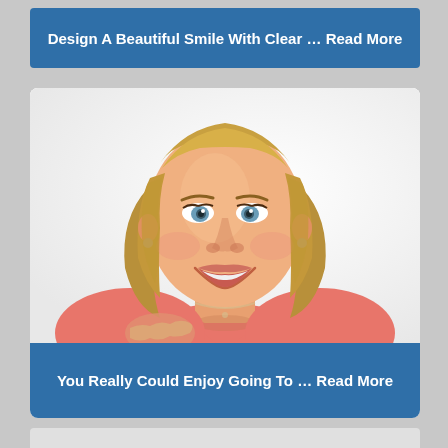Design A Beautiful Smile With Clear … Read More
[Figure (photo): Smiling middle-aged woman with blonde hair, wearing a pink top, against a white background]
You Really Could Enjoy Going To … Read More